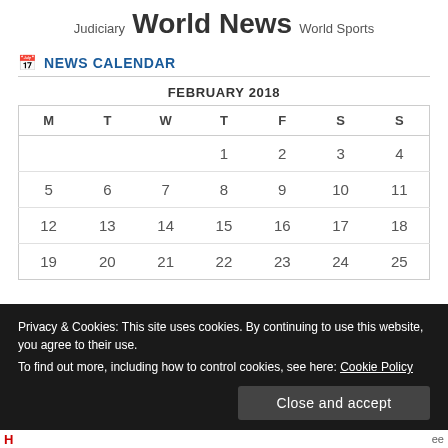Judiciary  World News  World Sports
NEWS CALENDAR
| M | T | W | T | F | S | S |
| --- | --- | --- | --- | --- | --- | --- |
|  |  |  | 1 | 2 | 3 | 4 |
| 5 | 6 | 7 | 8 | 9 | 10 | 11 |
| 12 | 13 | 14 | 15 | 16 | 17 | 18 |
| 19 | 20 | 21 | 22 | 23 | 24 | 25 |
Privacy & Cookies: This site uses cookies. By continuing to use this website, you agree to their use.
To find out more, including how to control cookies, see here: Cookie Policy
Close and accept